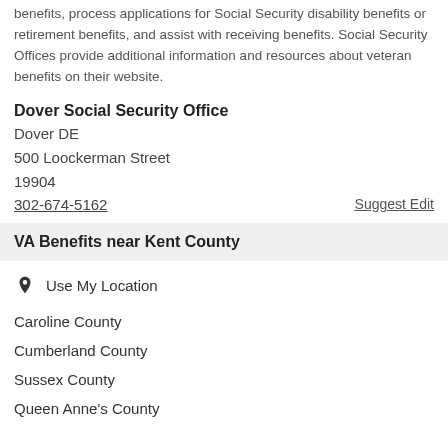benefits, process applications for Social Security disability benefits or retirement benefits, and assist with receiving benefits. Social Security Offices provide additional information and resources about veteran benefits on their website.
Dover Social Security Office
Dover DE
500 Loockerman Street
19904
302-674-5162
VA Benefits near Kent County
Use My Location
Caroline County
Cumberland County
Sussex County
Queen Anne's County